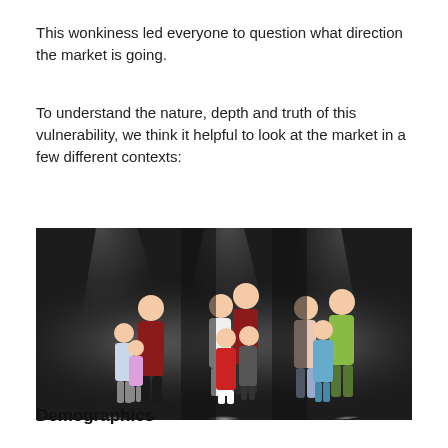This wonkiness led everyone to question what direction the market is going.
To understand the nature, depth and truth of this vulnerability, we think it helpful to look at the market in a few different contexts:
[Figure (photo): Three groups of people illuminated by spotlights against a dark background: left group shows a woman and two children, center group shows a family of four, right group shows three people including two adults and a child.]
Demographics